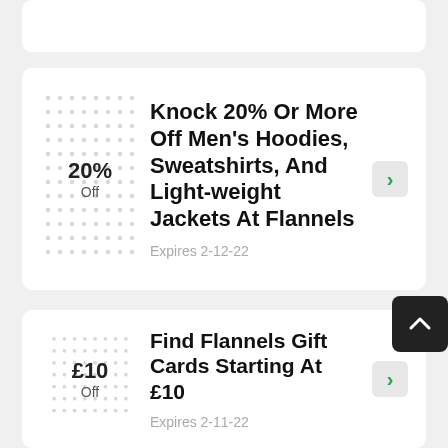20% Off
Knock 20% Or More Off Men's Hoodies, Sweatshirts, And Light-weight Jackets At Flannels
Expires 2-12-22
£10 Off
Find Flannels Gift Cards Starting At £10
Expires 2-11-22